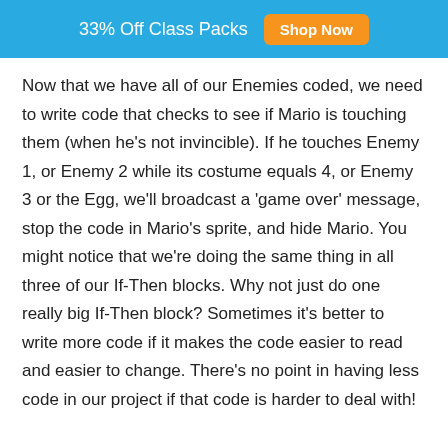33% Off Class Packs  Shop Now
Now that we have all of our Enemies coded, we need to write code that checks to see if Mario is touching them (when he's not invincible). If he touches Enemy 1, or Enemy 2 while its costume equals 4, or Enemy 3 or the Egg, we'll broadcast a 'game over' message, stop the code in Mario's sprite, and hide Mario. You might notice that we're doing the same thing in all three of our If-Then blocks. Why not just do one really big If-Then block? Sometimes it's better to write more code if it makes the code easier to read and easier to change. There's no point in having less code in our project if that code is harder to deal with!